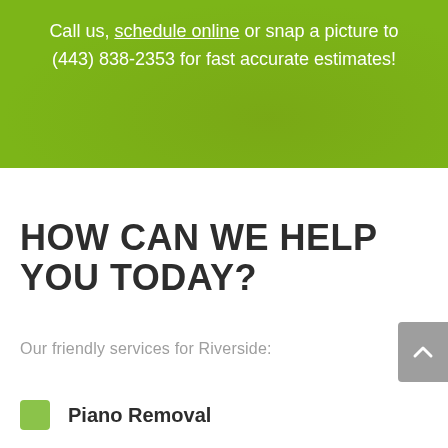Call us, schedule online or snap a picture to (443) 838-2353 for fast accurate estimates!
HOW CAN WE HELP YOU TODAY?
Our friendly services for Riverside:
Piano Removal